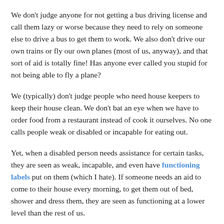We don't judge anyone for not getting a bus driving license and call them lazy or worse because they need to rely on someone else to drive a bus to get them to work. We also don't drive our own trains or fly our own planes (most of us, anyway), and that sort of aid is totally fine! Has anyone ever called you stupid for not being able to fly a plane?
We (typically) don't judge people who need house keepers to keep their house clean. We don't bat an eye when we have to order food from a restaurant instead of cook it ourselves. No one calls people weak or disabled or incapable for eating out.
Yet, when a disabled person needs assistance for certain tasks, they are seen as weak, incapable, and even have functioning labels put on them (which I hate). If someone needs an aid to come to their house every morning, to get them out of bed, shower and dress them, they are seen as functioning at a lower level than the rest of us.
If a disabled person needs a cleaner to help with chores, they are seen as less than. If a non-disabled person hires a cleaner, they are seen as smart for making time for themselves and maybe even seen as somewhat